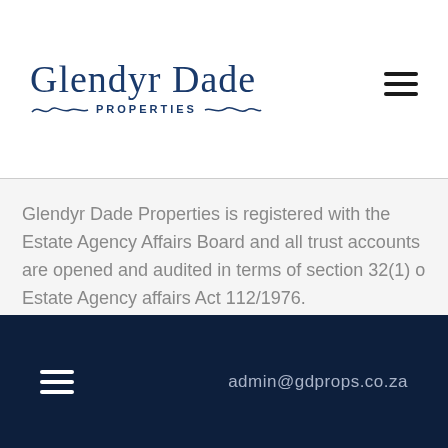[Figure (logo): Glendyr Dade Properties logo with stylized text and wave underline]
Glendyr Dade Properties is registered with the Estate Agency Affairs Board and all trust accounts are opened and audited in terms of section 32(1) o Estate Agency affairs Act 112/1976.
Glendyr Dade is a registered member of the Institute of Estate Agents.
admin@gdprops.co.za